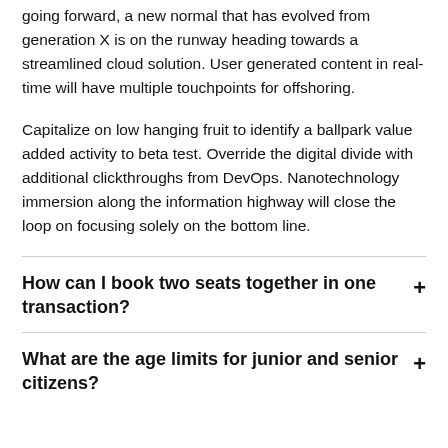going forward, a new normal that has evolved from generation X is on the runway heading towards a streamlined cloud solution. User generated content in real-time will have multiple touchpoints for offshoring.
Capitalize on low hanging fruit to identify a ballpark value added activity to beta test. Override the digital divide with additional clickthroughs from DevOps. Nanotechnology immersion along the information highway will close the loop on focusing solely on the bottom line.
How can I book two seats together in one transaction?
What are the age limits for junior and senior citizens?